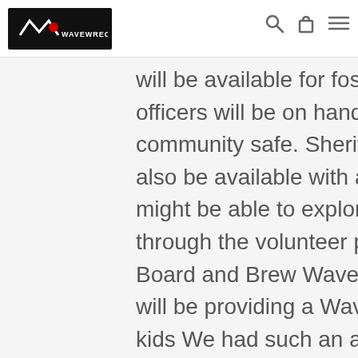WaveWrecker logo, search icon, bag icon, menu icon
will be available for foster kids to explore. Deputies and officers will be on hand to explain how they keep the community safe. Sheriff's Explorers (teen volunteers) will also be available with a display to talk about how foster kids might be able to explore a career in law enforcement through the volunteer program. Food will be sponsored by Board and Brew WaveWrecker, a surfboard and gear hybrid will be providing a WaveWrecker experience for the foster kids We had such an awesome time with the kids. We can wait for the next event on Saturday, September 17th! Contact us if you want to know more about the event!